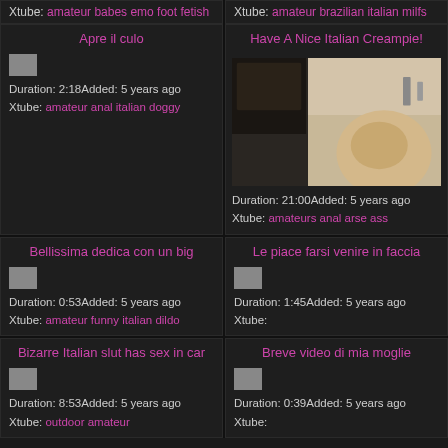Xtube: amateur babes emo foot fetish
Xtube: amateur brazilian italian milfs
Apre il culo
Duration: 2:18Added: 5 years ago
Xtube: amateur anal italian doggy
Have A Nice Italian Creampie!
[Figure (photo): Video thumbnail of a woman on a bed, watermark www.chubbybrondy.com]
Duration: 21:00Added: 5 years ago
Xtube: amateurs anal arse ass
Bellissima dedica con un big
Duration: 0:53Added: 5 years ago
Xtube: amateur funny italian dildo
Le piace farsi venire in faccia
Duration: 1:45Added: 5 years ago
Xtube:
Bizarre Italian slut has sex in car
Duration: 8:53Added: 5 years ago
Xtube: outdoor amateur
Breve video di mia moglie
Duration: 0:39Added: 5 years ago
Xtube: